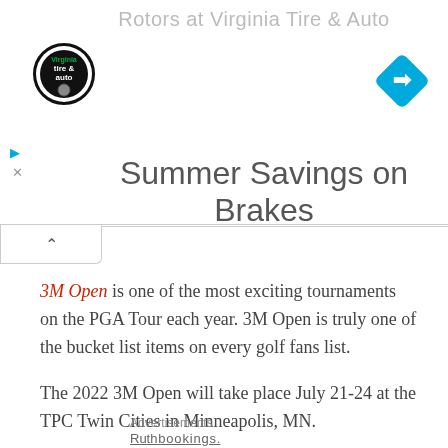[Figure (other): Advertisement banner for Virginia Tire & Auto featuring logo on left, navigation arrow icon on right, title 'Rotors at Virginia Tire & Auto' and subtitle 'Summer Savings on Brakes']
3M Open is one of the most exciting tournaments on the PGA Tour each year. 3M Open is truly one of the bucket list items on every golf fans list.
The 2022 3M Open will take place July 21-24 at the TPC Twin Cities in Minneapolis, MN.
CapitalCityTickets.com offers a safe and secure online buying experience for 3M Open tickets.
Advertisements